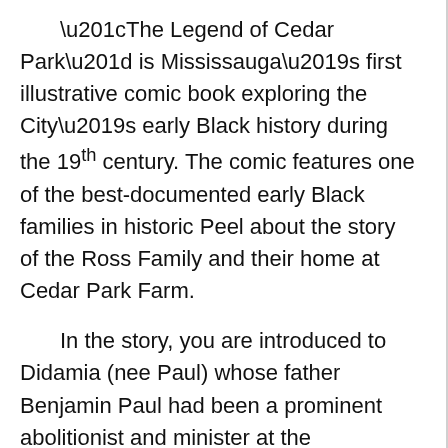“The Legend of Cedar Park” is Mississauga’s first illustrative comic book exploring the City’s early Black history during the 19th century. The comic features one of the best-documented early Black families in historic Peel about the story of the Ross Family and their home at Cedar Park Farm.

In the story, you are introduced to Didamia (nee Paul) whose father Benjamin Paul had been a prominent abolitionist and minister at the Wilberforce Settlement, near Lucan, Ontario. Didamia herself had been a schoolteacher before getting married, and the couple would go on to have